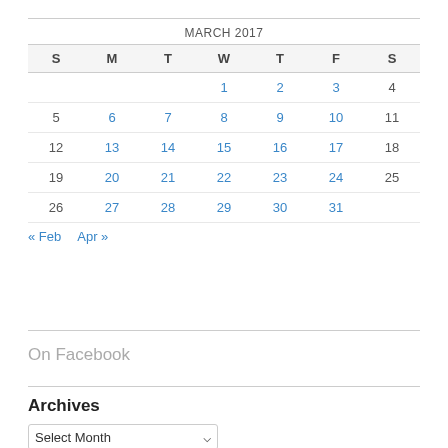MARCH 2017
| S | M | T | W | T | F | S |
| --- | --- | --- | --- | --- | --- | --- |
|  |  |  | 1 | 2 | 3 | 4 |
| 5 | 6 | 7 | 8 | 9 | 10 | 11 |
| 12 | 13 | 14 | 15 | 16 | 17 | 18 |
| 19 | 20 | 21 | 22 | 23 | 24 | 25 |
| 26 | 27 | 28 | 29 | 30 | 31 |  |
« Feb   Apr »
On Facebook
Archives
Select Month